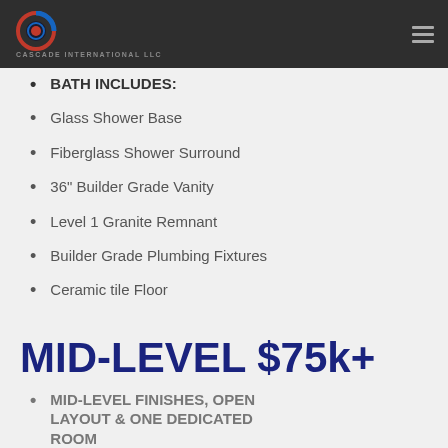CASCADE INTERNATIONAL LLC
BATH INCLUDES:
Glass Shower Base
Fiberglass Shower Surround
36" Builder Grade Vanity
Level 1 Granite Remnant
Builder Grade Plumbing Fixtures
Ceramic tile Floor
BAR INCLUDES:
8' Builder Grade Cabinets
Level 1 Granite Remnant
Builder Grade Plumbing Fixtures
Ceramic Tile Floor
MID-LEVEL $75k+
MID-LEVEL FINISHES, OPEN LAYOUT & ONE DEDICATED ROOM